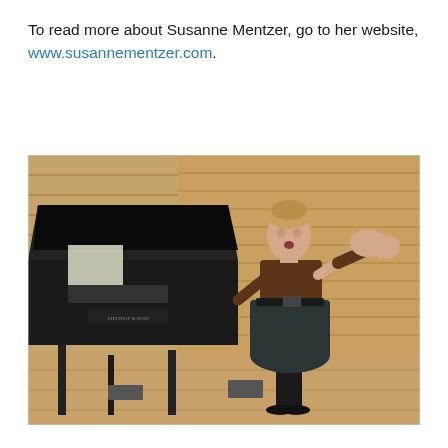To read more about Susanne Mentzer, go to her website, www.susannementzer.com.
[Figure (photo): A woman (Susanne Mentzer) performing on stage, wearing a brown patterned jacket and dark skirt, hands raised expressively, standing next to a grand piano. The background shows a wood-paneled concert hall wall.]